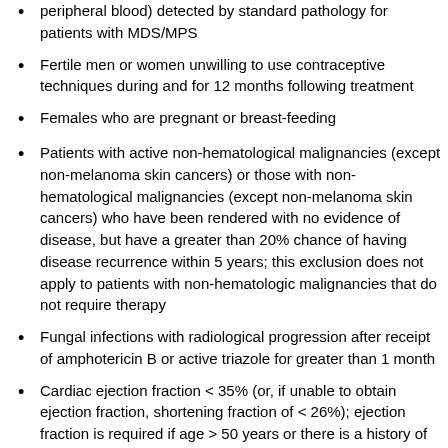peripheral blood) detected by standard pathology for patients with MDS/MPS
Fertile men or women unwilling to use contraceptive techniques during and for 12 months following treatment
Females who are pregnant or breast-feeding
Patients with active non-hematological malignancies (except non-melanoma skin cancers) or those with non-hematological malignancies (except non-melanoma skin cancers) who have been rendered with no evidence of disease, but have a greater than 20% chance of having disease recurrence within 5 years; this exclusion does not apply to patients with non-hematologic malignancies that do not require therapy
Fungal infections with radiological progression after receipt of amphotericin B or active triazole for greater than 1 month
Cardiac ejection fraction < 35% (or, if unable to obtain ejection fraction, shortening fraction of < 26%); ejection fraction is required if age > 50 years or there is a history of anthracycline exposure or history of cardiac disease; patients with a